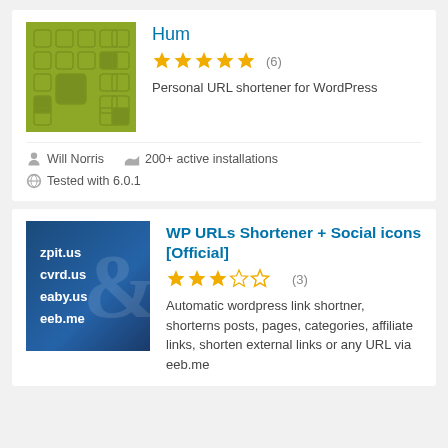[Figure (screenshot): Green mosaic pattern plugin thumbnail for Hum WordPress plugin]
Hum
[Figure (other): 5 gold stars rating with (6) reviews]
Personal URL shortener for WordPress
Will Norris
200+ active installations
Tested with 6.0.1
[Figure (screenshot): Blue background with URL examples: zpit.us, cvrd.us, eaby.us, eeb.me with chain link icon]
WP URLs Shortener + Social icons [Official]
[Figure (other): 3.5 gold stars rating with (3) reviews]
Automatic wordpress link shortner, shorterns posts, pages, categories, affiliate links, shorten external links or any URL via eeb.me